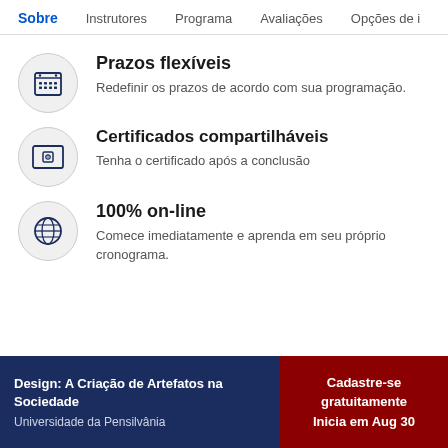Sobre  Instrutores  Programa  Avaliações  Opções de i
Prazos flexíveis — Redefinir os prazos de acordo com sua programação.
Certificados compartilháveis — Tenha o certificado após a conclusão
100% on-line — Comece imediatamente e aprenda em seu próprio cronograma.
Design: A Criação de Artefatos na Sociedade | Universidade da Pensilvânia | Cadastre-se gratuitamente | Inicia em Aug 30